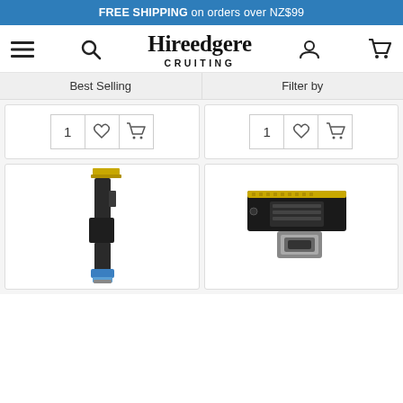FREE SHIPPING on orders over NZ$99
[Figure (logo): Hireedgere CRUITING brand logo with menu, search, user and cart icons in navigation bar]
Best Selling
Filter by
[Figure (screenshot): Product card with quantity selector showing 1, heart/wishlist button, and cart button]
[Figure (screenshot): Product card with quantity selector showing 1, heart/wishlist button, and cart button]
[Figure (photo): Long flexible cable connector for tablet, black with blue connector at bottom]
[Figure (photo): Charging port flex cable connector module, black PCB with USB-C port]